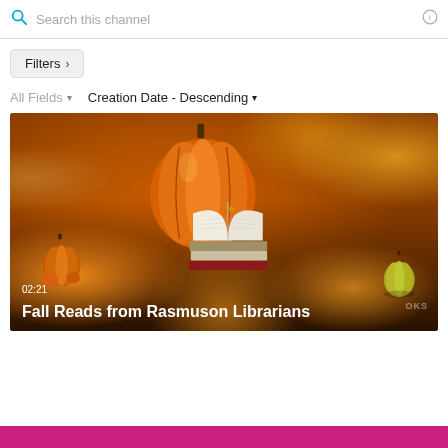Search this channel
Filters >
All Fields ▾   Creation Date - Descending ▾
[Figure (photo): Autumn scene with pumpkins, open books stacked, and fall leaves. Video thumbnail for 'Fall Reads from Rasmuson Librarians'. Duration shown: 02:21.]
02:21
Fall Reads from Rasmuson Librarians